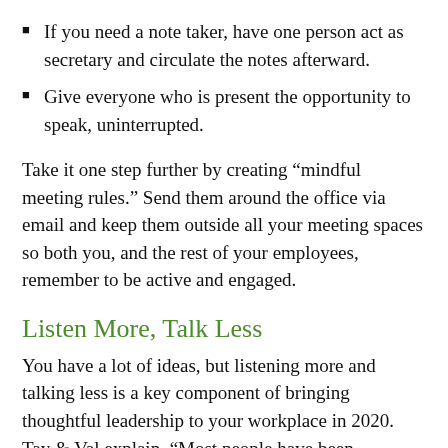If you need a note taker, have one person act as secretary and circulate the notes afterward.
Give everyone who is present the opportunity to speak, uninterrupted.
Take it one step further by creating “mindful meeting rules.” Send them around the office via email and keep them outside all your meeting spaces so both you, and the rest of your employees, remember to be active and engaged.
Listen More, Talk Less
You have a lot of ideas, but listening more and talking less is a key component of bringing thoughtful leadership to your workplace in 2020. Tay & Val explain, “Most people have been conditioned to listen